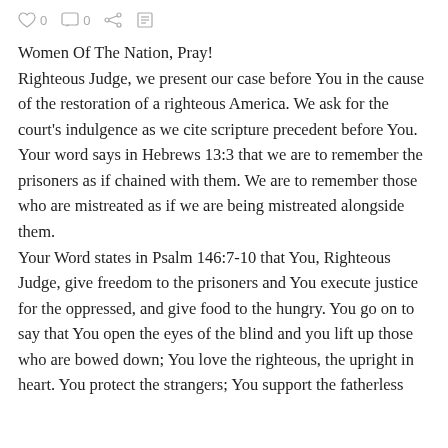♥ 0   □ 0   < ≡
Women Of The Nation, Pray!
Righteous Judge, we present our case before You in the cause of the restoration of a righteous America. We ask for the court's indulgence as we cite scripture precedent before You. Your word says in Hebrews 13:3 that we are to remember the prisoners as if chained with them. We are to remember those who are mistreated as if we are being mistreated alongside them.
Your Word states in Psalm 146:7-10 that You, Righteous Judge, give freedom to the prisoners and You execute justice for the oppressed, and give food to the hungry. You go on to say that You open the eyes of the blind and you lift up those who are bowed down; You love the righteous, the upright in heart. You protect the strangers; You support the fatherless